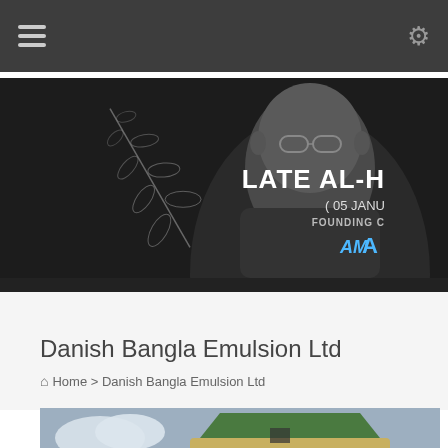Navigation bar with hamburger menu and settings icon
[Figure (photo): Black and white banner photo of an elderly man with glasses, with a decorative leaf illustration on the left, and text overlay: LATE AL-H... (05 JANU... FOUNDING C... with a blue logo]
Danish Bangla Emulsion Ltd
Home > Danish Bangla Emulsion Ltd
[Figure (photo): Partial photo of construction/road equipment (roller/compactor) with a green canopy against a sky background]